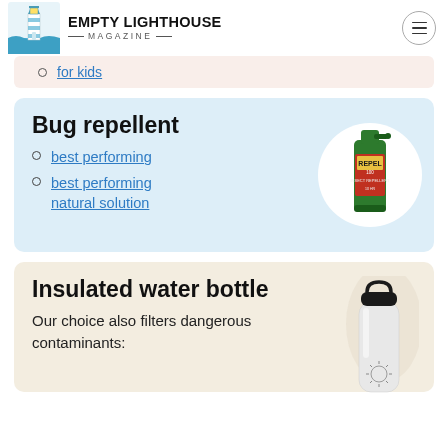Empty Lighthouse Magazine
for kids
Bug repellent
best performing
best performing natural solution
[Figure (photo): Green spray bottle of Repel bug repellent on white circular background]
Insulated water bottle
Our choice also filters dangerous contaminants:
[Figure (photo): White Hydro Flask insulated water bottle with black cap, partial view]